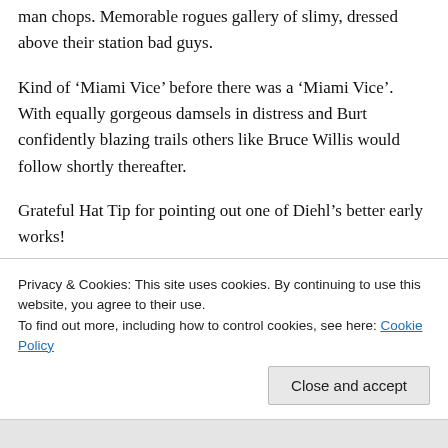man chops. Memorable rogues gallery of slimy, dressed above their station bad guys.
Kind of ‘Miami Vice’ before there was a ‘Miami Vice’. With equally gorgeous damsels in distress and Burt confidently blazing trails others like Bruce Willis would follow shortly thereafter.
Grateful Hat Tip for pointing out one of Diehl’s better early works!
★ Like
Privacy & Cookies: This site uses cookies. By continuing to use this website, you agree to their use.
To find out more, including how to control cookies, see here: Cookie Policy
Close and accept